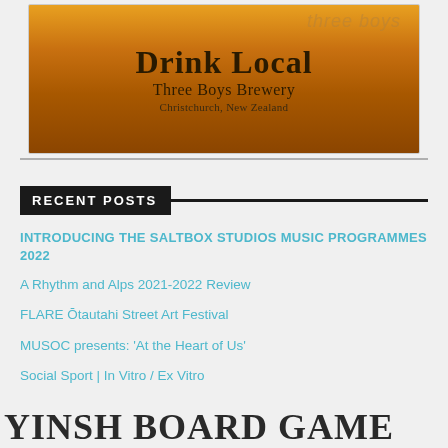[Figure (illustration): Beer glass / cup showing 'Drink Local' text for Three Boys Brewery, Christchurch, New Zealand. Orange/amber colored glass with dark text overlay.]
RECENT POSTS
INTRODUCING THE SALTBOX STUDIOS MUSIC PROGRAMMES 2022
A Rhythm and Alps 2021-2022 Review
FLARE Ōtautahi Street Art Festival
MUSOC presents: ‘At the Heart of Us’
Social Sport | In Vitro / Ex Vitro
YINSH BOARD GAME